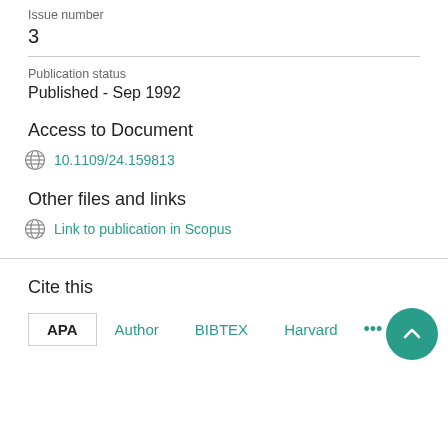Issue number
3
Publication status
Published - Sep 1992
Access to Document
10.1109/24.159813
Other files and links
Link to publication in Scopus
Cite this
APA  Author  BIBTEX  Harvard  ...